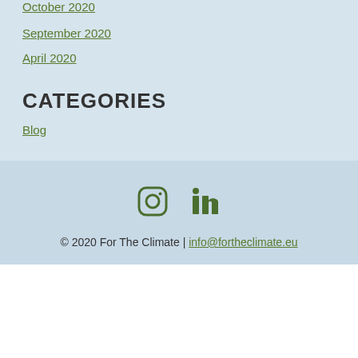October 2020
September 2020
April 2020
CATEGORIES
Blog
[Figure (other): Social media icons: Instagram and LinkedIn]
© 2020 For The Climate | info@fortheclimate.eu